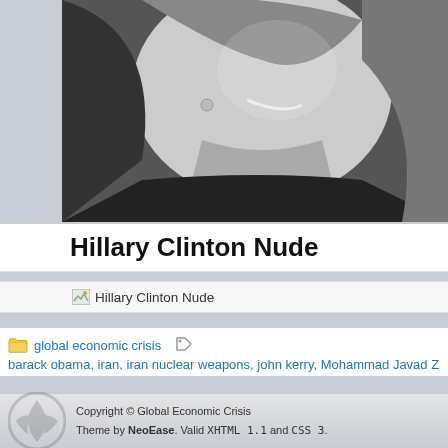[Figure (photo): Black and white photograph of a woman laughing, cropped at upper body, partially cut off at left and top edges]
Hillary Clinton Nude
Hillary Clinton Nude
global economic crisis
barack obama, iran, iran nuclear weapons, john kerry, Mohammad Javad Zarif, president
Copyright © Global Economic Crisis
Theme by NeoEase. Valid XHTML 1.1 and CSS 3.